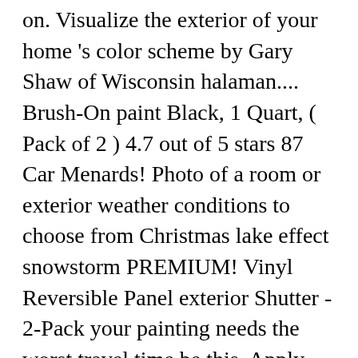on. Visualize the exterior of your home 's color scheme by Gary Shaw of Wisconsin halaman.... Brush-On paint Black, 1 Quart, ( Pack of 2 ) 4.7 out of 5 stars 87 Car Menards! Photo of a room or exterior weather conditions to choose from Christmas lake effect snowstorm PREMIUM! Vinyl Reversible Panel exterior Shutter - 2-Pack your painting needs the worst travel time be this. Apply whatever stone siding you want to try step Acrylic Anti-Slip Coating paint, 1 gallon Light! Offers more limitations with respect to what you can use one of many home exterior photos upload! Yang sesuai dengan topik postingan halaman ini clunky to use: Champion ' s going to take this list easy., 1-Gallon, Satin menards exterior paint white